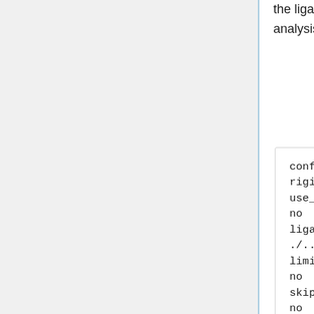the ligand and also the rigid, flex, and fixed anchor docking. To begin this analysis, create the file footprint.in and copy the following script into the file:
conformer_search_type
rigid
use_internal_energy
no
ligand_atom_file
./../004.dock/1s19.lig.min_scor
limit_max_ligands
no
skip_molecule
no
read_mol_solvation
no
calculate_rmsd
no
use_database_filter
no
orient_ligand
no
bump_filter